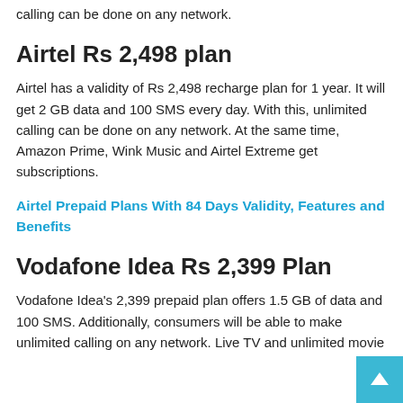calling can be done on any network.
Airtel Rs 2,498 plan
Airtel has a validity of Rs 2,498 recharge plan for 1 year. It will get 2 GB data and 100 SMS every day. With this, unlimited calling can be done on any network. At the same time, Amazon Prime, Wink Music and Airtel Extreme get subscriptions.
Airtel Prepaid Plans With 84 Days Validity, Features and Benefits
Vodafone Idea Rs 2,399 Plan
Vodafone Idea's 2,399 prepaid plan offers 1.5 GB of data and 100 SMS. Additionally, consumers will be able to make unlimited calling on any network. Live TV and unlimited movie and...